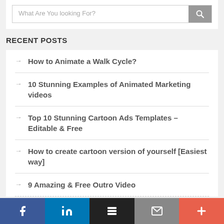[Figure (screenshot): Search box with placeholder text 'What Are You looking For?' and a grey search button with magnifying glass icon]
RECENT POSTS
How to Animate a Walk Cycle?
10 Stunning Examples of Animated Marketing videos
Top 10 Stunning Cartoon Ads Templates – Editable & Free
How to create cartoon version of yourself [Easiest way]
9 Amazing & Free Outro Video
[Figure (screenshot): Social sharing bar with Facebook, LinkedIn, Buffer/layers, Email, and plus buttons]